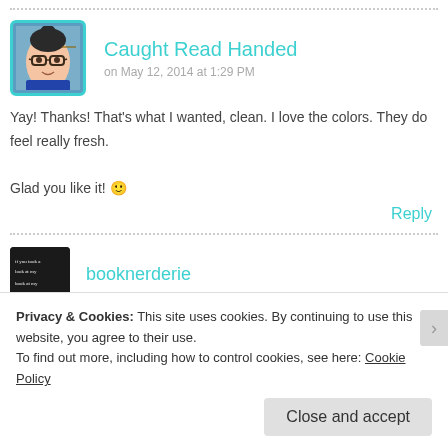[Figure (photo): Dotted horizontal separator line]
Caught Read Handed
on May 12, 2014 at 1:29 PM
[Figure (photo): Avatar photo of Caught Read Handed blogger with glasses]
Yay! Thanks! That's what I wanted, clean. I love the colors. They do feel really fresh.

Glad you like it! 🙂
Reply
[Figure (photo): Dotted horizontal separator line]
[Figure (photo): Avatar for booknerderie with dark background book text]
booknerderie
Privacy & Cookies: This site uses cookies. By continuing to use this website, you agree to their use.
To find out more, including how to control cookies, see here: Cookie Policy
Close and accept